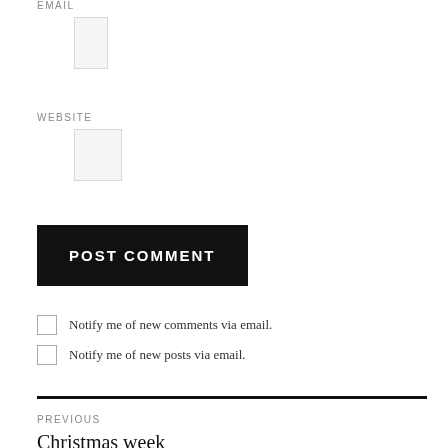EMAIL
WEBSITE
POST COMMENT
Notify me of new comments via email.
Notify me of new posts via email.
PREVIOUS
Christmas week